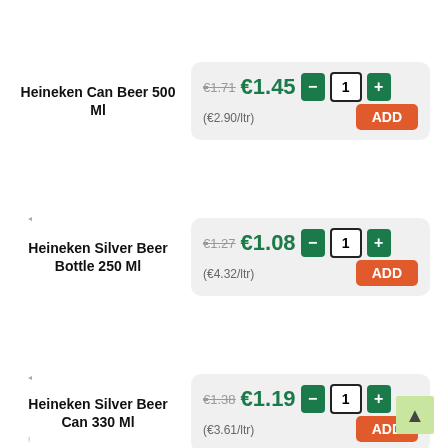Heineken Can Beer 500 Ml
€1.71 €1.45 - 1 + (€2.90/ltr) ADD
Heineken Silver Beer Bottle 250 Ml
€1.27 €1.08 - 1 + (€4.32/ltr) ADD
Heineken Silver Beer Can 330 Ml
€1.38 €1.19 - 1 + (€3.61/ltr) ADD